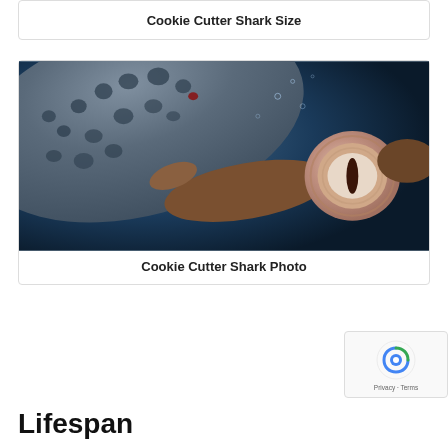Cookie Cutter Shark Size
[Figure (photo): Underwater photo of a cookie cutter shark swimming near a large spotted marine animal, showing the shark's round mouth/suction opening prominently on the right side, against a deep blue ocean background.]
Cookie Cutter Shark Photo
Lifespan